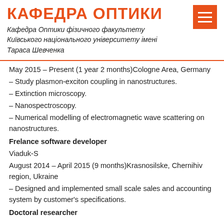КАФЕДРА ОПТИКИ
Кафедра Оптики фізичного факультету Київського національного університету імені Тараса Шевченка
May 2015 – Present (1 year 2 months)Cologne Area, Germany
– Study plasmon-exciton coupling in nanostructures.
– Extinction microscopy.
– Nanospectroscopy.
– Numerical modelling of electromagnetic wave scattering on nanostructures.
Frelance software developer
Viaduk-S
August 2014 – April 2015 (9 months)Krasnosilske, Chernihiv region, Ukraine
– Designed and implemented small scale sales and accounting system by customer's specifications.
Doctoral researcher